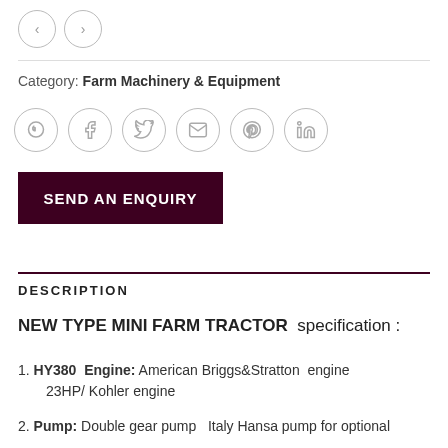[Figure (other): Navigation arrows (previous/next) as circle buttons]
Category: Farm Machinery & Equipment
[Figure (other): Social sharing icons: WhatsApp, Facebook, Twitter, Email, Pinterest, LinkedIn — each in a circle]
SEND AN ENQUIRY
DESCRIPTION
NEW TYPE MINI FARM TRACTOR  specification :
HY380 Engine: American Briggs&Stratton engine 23HP/ Kohler engine
Pump: Double gear pump  Italy Hansa pump for optional